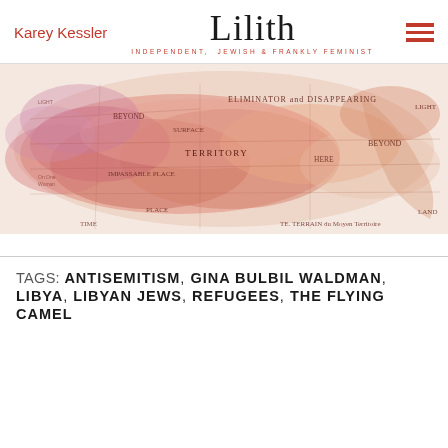Karey Kessler
Lilith
INDEPENDENT, JEWISH & FRANKLY FEMINIST
[Figure (map): A stylized pink and orange toned map artwork with text overlays including words like BEYOND, TERRITORY, LIGHT, LAND, PLACE, TIME, ELIMINATOR and DISAPPEARING, and other geographic/conceptual labels]
TAGS: ANTISEMITISM, GINA BULBIL WALDMAN, LIBYA, LIBYAN JEWS, REFUGEES, THE FLYING CAMEL